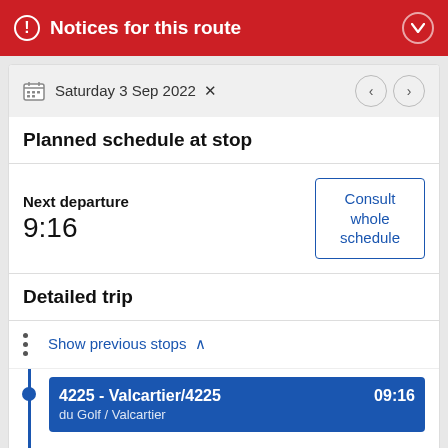Notices for this route
Saturday 3 Sep 2022
Planned schedule at stop
Next departure
9:16
Consult whole schedule
Detailed trip
Show previous stops
4225 - Valcartier/4225
du Golf / Valcartier
09:16
4226 - du Jardin
du Golf / du Jardin
09:16